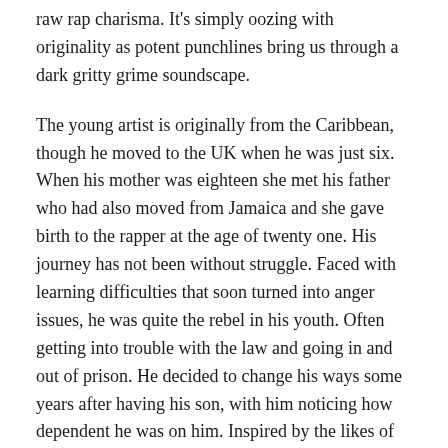raw rap charisma. It's simply oozing with originality as potent punchlines bring us through a dark gritty grime soundscape.
The young artist is originally from the Caribbean, though he moved to the UK when he was just six. When his mother was eighteen she met his father who had also moved from Jamaica and she gave birth to the rapper at the age of twenty one. His journey has not been without struggle. Faced with learning difficulties that soon turned into anger issues, he was quite the rebel in his youth. Often getting into trouble with the law and going in and out of prison. He decided to change his ways some years after having his son, with him noticing how dependent he was on him. Inspired by the likes of Stormzy. J Cole and Dave, the rapper has been making music since he was around twelve. First starting out by memorizing the lyrics of his favourite songs and then soon spitting his feelings over beats. He's gone from strength to strength and now having harnessed his hard signature sound, is well on his way to make a major